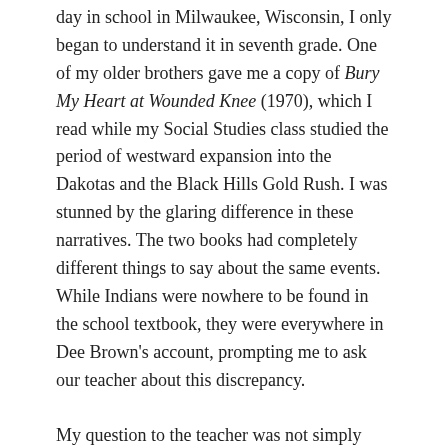day in school in Milwaukee, Wisconsin, I only began to understand it in seventh grade. One of my older brothers gave me a copy of Bury My Heart at Wounded Knee (1970), which I read while my Social Studies class studied the period of westward expansion into the Dakotas and the Black Hills Gold Rush. I was stunned by the glaring difference in these narratives. The two books had completely different things to say about the same events. While Indians were nowhere to be found in the school textbook, they were everywhere in Dee Brown's account, prompting me to ask our teacher about this discrepancy.
My question to the teacher was not simply about facts or words, it was, as Linda Hogan says, about "ways of thinking and being in the world" (12). Around that time, there were a series of marches and protests by Wisconsin Native Americans in the news. Having already been mistaken for Native American, I knew that discriminatory treatment toward Native Americans was not unlike that directed against